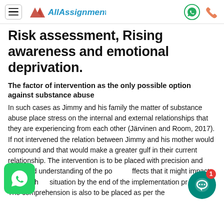AllAssignmentHelp
Risk assessment, Rising awareness and emotional deprivation.
The factor of intervention as the only possible option against substance abuse
In such cases as Jimmy and his family the matter of substance abuse place stress on the internal and external relationships that they are experiencing from each other (Järvinen and Room, 2017). If not intervened the relation between Jimmy and his mother would compound and that would make a greater gulf in their current relationship. The intervention is to be placed with precision and educated understanding of the possible effects that it might impact on the whole situation by the end of the implementation process. The comprehension is also to be placed as per the